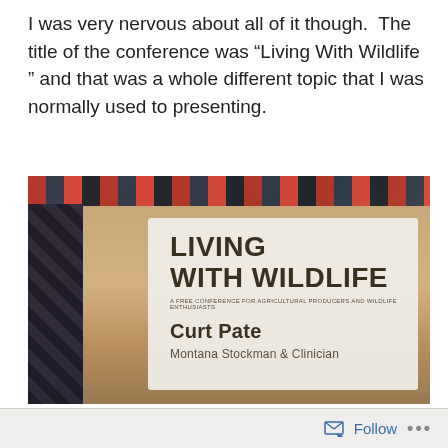I was very nervous about all of it though. The title of the conference was “Living With Wildlife ” and that was a whole different topic that I was normally used to presenting.
[Figure (photo): A name badge for the Living With Wildlife conference showing bold text 'LIVING WITH WILDLIFE', subtitle 'A FREE CONFERENCE FOR AGRICULTURAL PRODUCERS AND WILDLIFE ENTHUSIASTS', and the name 'Curt Pate, Montana Stockman & Clinician'. The badge is photographed against a colorful patterned fabric background.]
Follow ...